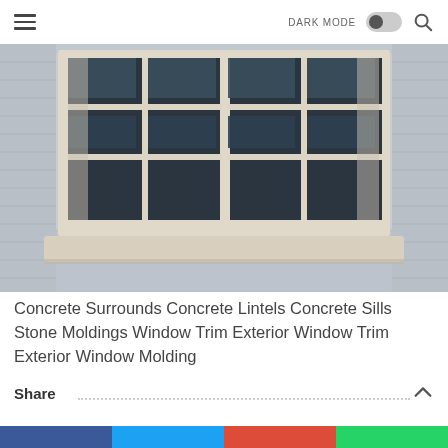DARK MODE [toggle] [search]
[Figure (photo): Exterior photo of a building wall with a double window featuring white grid panes, beige/cream concrete surrounds and sill, set in a grey textured stone or concrete block wall.]
Concrete Surrounds Concrete Lintels Concrete Sills Stone Moldings Window Trim Exterior Window Trim Exterior Window Molding
Share
[Figure (infographic): Social share bar with four colored sections: Facebook (blue), Twitter (light blue), Google+ (red), WhatsApp (green).]